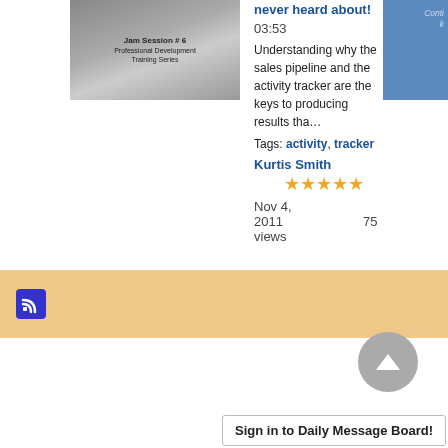[Figure (screenshot): Thumbnail image of a training video - Jam Session #6 Professional Development Training Series, showing a person with arms crossed]
never heard about!   03:53
Understanding why the sales pipeline and the activity tracker are the keys to producing results tha…
Tags: activity, tracker
Kurtis Smith
[Figure (other): 5-star rating displayed in orange stars]
Nov 4, 2011        75 views
[Figure (other): RSS feed icon in a blue square in an orange/tan bar]
[Figure (other): Scroll to top button - grey circle with upward arrow]
Sign in to Daily Message Board!